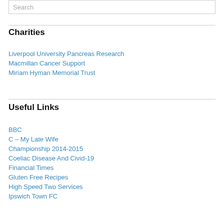Search
Charities
Liverpool University Pancreas Research
Macmillan Cancer Support
Miriam Hyman Memorial Trust
Useful Links
BBC
C – My Late Wife
Championship 2014-2015
Coeliac Disease And Civid-19
Financial Times
Gluten Free Recipes
High Speed Two Services
Ipswich Town FC